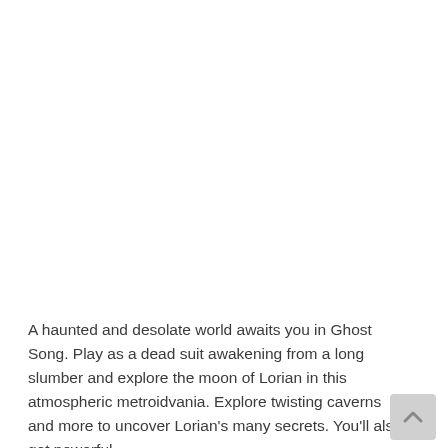[Figure (photo): Large image area showing Ghost Song game screenshot or artwork — appears blank/white in this view]
A haunted and desolate world awaits you in Ghost Song. Play as a dead suit awakening from a long slumber and explore the moon of Lorian in this atmospheric metroidvania. Explore twisting caverns and more to uncover Lorian's many secrets. You'll also get powerful